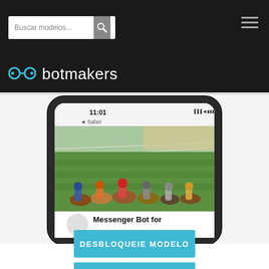Buscar modelos...
[Figure (logo): Botmakers logo with goggles icon and text 'botmakers' in white on dark background]
[Figure (screenshot): iPhone X mockup showing a horse racing image in a Messenger interface with text 'Messenger Bot for' and a back arrow with badge number 8. Time shown is 11:01, carrier is Safari.]
DESBLOQUEIE MODELO